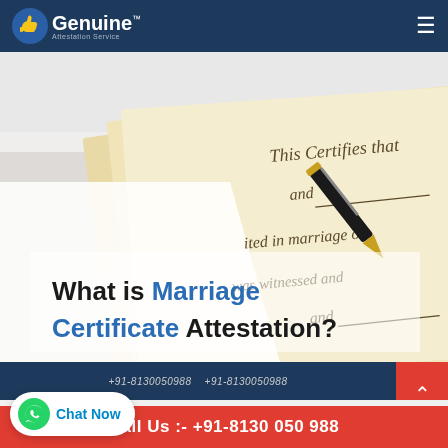Genuine Attestation Services
[Figure (photo): A marriage certificate document with cursive handwriting showing 'This Certifies that', 'and', 'united in marriage on', 'was witnessed and', 'and', with a fountain pen resting on the document. Text overlay reads: What is Marriage Certificate Attestation?]
What is Marriage Certificate Attestation?
What is Marriage Certificate Attestation?
Chat Now
Call Us :- +91-8130 050 988